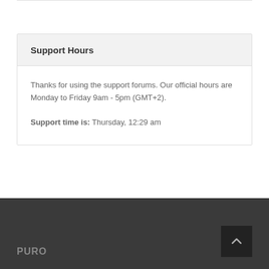Support Hours
Thanks for using the support forums. Our official hours are Monday to Friday 9am - 5pm (GMT+2).
Support time is: Thursday, 12:29 am
PURO